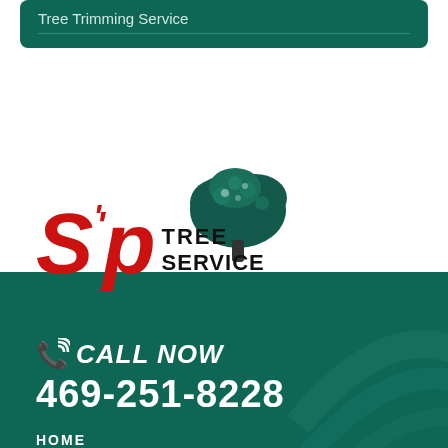Tree Trimming Service
[Figure (logo): SP Tree Service logo with red italic S and P letters and black tree silhouette with TREE SERVICE text]
CALL NOW
469-251-8228
HOME